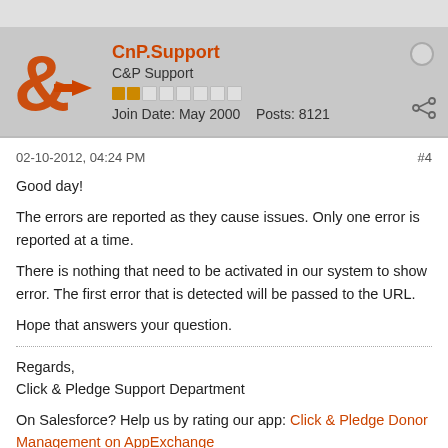[Figure (logo): CnP/Click & Pledge orange ampersand and arrow logo]
CnP.Support
C&P Support
Join Date: May 2000   Posts: 8121
02-10-2012, 04:24 PM
#4
Good day!

The errors are reported as they cause issues. Only one error is reported at a time.

There is nothing that need to be activated in our system to show error. The first error that is detected will be passed to the URL.

Hope that answers your question.

Regards,
Click & Pledge Support Department

On Salesforce? Help us by rating our app: Click & Pledge Donor Management on AppExchange

Join us @ the educational webinars: https://clickandpledge.com/webinars/
Live Support available Join between 3:00 - 3:30 p.m. ET Monday - Thursday:
https://clickandpledge.com/webinars/